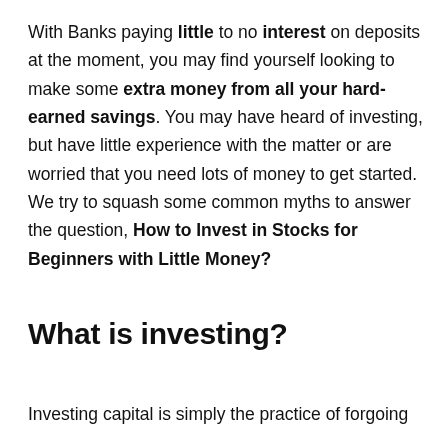With Banks paying little to no interest on deposits at the moment, you may find yourself looking to make some extra money from all your hard-earned savings. You may have heard of investing, but have little experience with the matter or are worried that you need lots of money to get started. We try to squash some common myths to answer the question, How to Invest in Stocks for Beginners with Little Money?
What is investing?
Investing capital is simply the practice of forgoing